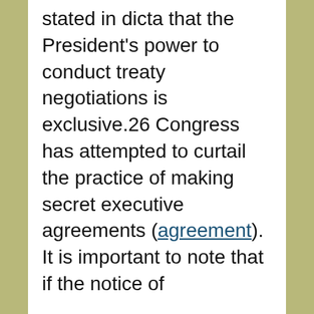stated in dicta that the President's power to conduct treaty negotiations is exclusive.26 Congress has attempted to curtail the practice of making secret executive agreements (agreement). It is important to note that if the notice of